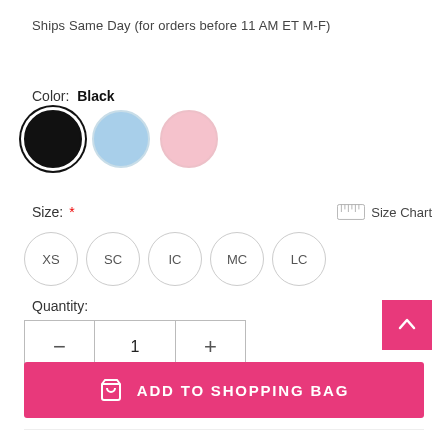Ships Same Day (for orders before 11 AM ET M-F)
Color: Black
[Figure (illustration): Three color swatch circles: Black (selected, with ring), light blue, light pink]
Size: * [ruler icon] Size Chart
XS
SC
IC
MC
LC
Quantity:
[Figure (other): Quantity stepper control with minus button, value of 1, and plus button]
[Figure (other): Pink ADD TO SHOPPING BAG button with shopping bag icon]
[Figure (other): Pink back-to-top button with upward chevron arrow]